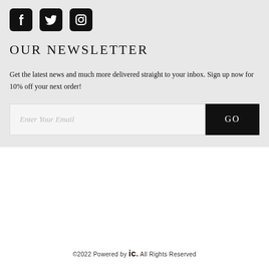[Figure (other): Social media icons: Facebook, Twitter, Instagram in black rounded square buttons]
OUR NEWSLETTER
Get the latest news and much more delivered straight to your inbox. Sign up now for 10% off your next order!
[Figure (other): Email input field with placeholder 'Enter Your Email' and a black GO button]
©2022 Powered by ic. All Rights Reserved